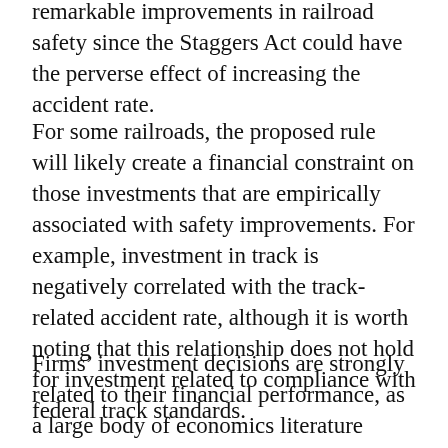remarkable improvements in railroad safety since the Staggers Act could have the perverse effect of increasing the accident rate.
For some railroads, the proposed rule will likely create a financial constraint on those investments that are empirically associated with safety improvements. For example, investment in track is negatively correlated with the track-related accident rate, although it is worth noting that this relationship does not hold for investment related to compliance with federal track standards.
Firms' investment decisions are strongly related to their financial performance, as a large body of economics literature indicates. The strength of that relationship alone should serve as a